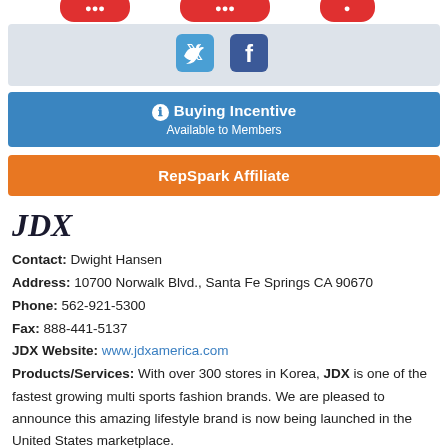[Figure (other): Partial top strip showing cropped red button/logo images]
[Figure (other): Social media icons: Twitter (bird) and Facebook (f) on a light gray background]
Buying Incentive
Available to Members
RepSpark Affiliate
JDX
Contact: Dwight Hansen
Address: 10700 Norwalk Blvd., Santa Fe Springs CA 90670
Phone: 562-921-5300
Fax: 888-441-5137
JDX Website: www.jdxamerica.com
Products/Services: With over 300 stores in Korea, JDX is one of the fastest growing multi sports fashion brands. We are pleased to announce this amazing lifestyle brand is now being launched in the United States marketplace.